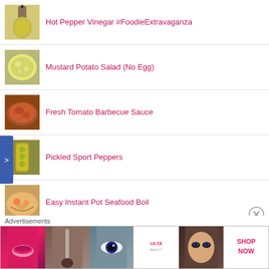Hot Pepper Vinegar #FoodieExtravaganza
Mustard Potato Salad (No Egg)
Fresh Tomato Barbecue Sauce
Pickled Sport Peppers
Easy Instant Pot Seafood Boil
Xangos (Mexican Cheesecake Chimichangas)
Classic Carol Chicken Salad
[Figure (photo): Advertisement banner for ULTA beauty products showing makeup and beauty imagery with SHOP NOW text]
Advertisements